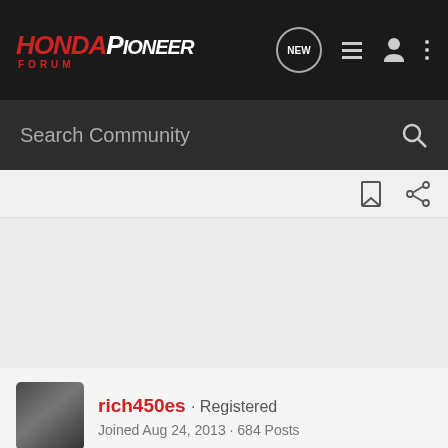HondaPioneer Forum
Search Community
rich450es · Registered
Joined Aug 24, 2013 · 684 Posts
#5 · Feb 26, 2014
welcome to the forum !!!!
[Figure (other): Spinner/loading pattern placeholder image with circular gear-like shapes in a repeating pattern]